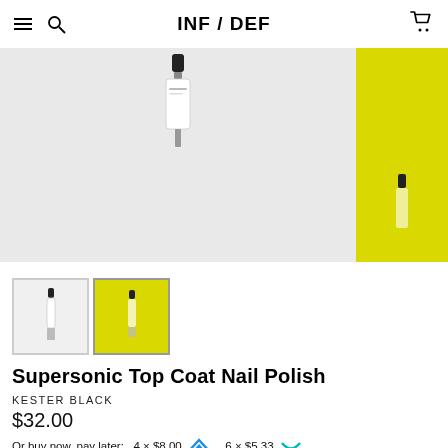INF / DEF
[Figure (photo): Nail polish bottle on light grey background (main product image)]
[Figure (photo): Nail polish bottle on bright yellow background (alternate product view)]
[Figure (photo): Thumbnail 1: nail polish bottle on grey background]
[Figure (photo): Thumbnail 2: nail polish bottle on yellow background]
Supersonic Top Coat Nail Polish
KESTER BLACK
$32.00
Or buy now, pay later:   4 × $8.00   6 × $5.33